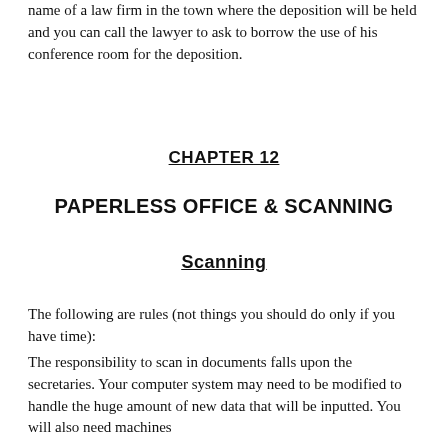name of a law firm in the town where the deposition will be held and you can call the lawyer to ask to borrow the use of his conference room for the deposition.
CHAPTER 12
PAPERLESS OFFICE & SCANNING
Scanning
The following are rules (not things you should do only if you have time):
The responsibility to scan in documents falls upon the secretaries. Your computer system may need to be modified to handle the huge amount of new data that will be inputted. You will also need machines